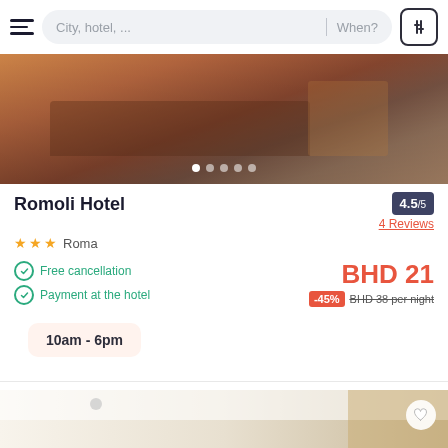City, hotel, ... | When?
[Figure (photo): Hotel room with brown/orange bedspread and wooden furniture]
Romoli Hotel
4.5/5 — 4 Reviews
★★★ Roma
Free cancellation
Payment at the hotel
BHD 21 — -45% BHD 38 per night
10am - 6pm
[Figure (photo): Hotel room with white ceiling and wooden walls, partly visible]